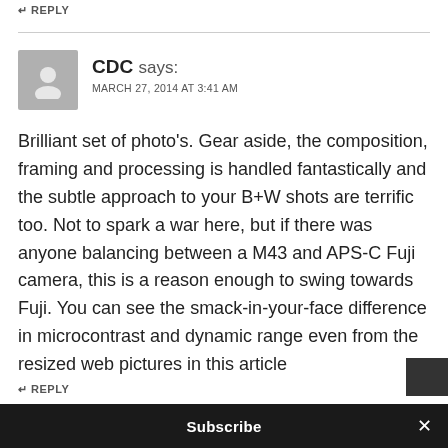↵ REPLY
CDC says:
MARCH 27, 2014 AT 3:41 AM
Brilliant set of photo’s. Gear aside, the composition, framing and processing is handled fantastically and the subtle approach to your B+W shots are terrific too. Not to spark a war here, but if there was anyone balancing between a M43 and APS-C Fuji camera, this is a reason enough to swing towards Fuji. You can see the smack-in-your-face difference in microcontrast and dynamic range even from the resized web pictures in this article
↵ REPLY
Subscribe ×